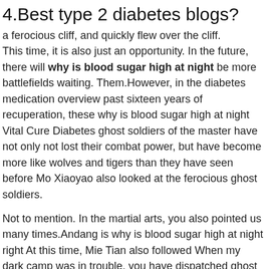4.Best type 2 diabetes blogs?
a ferocious cliff, and quickly flew over the cliff. This time, it is also just an opportunity. In the future, there will why is blood sugar high at night be more battlefields waiting. Them.However, in the diabetes medication overview past sixteen years of recuperation, these why is blood sugar high at night Vital Cure Diabetes ghost soldiers of the master have not only not lost their combat power, but have become more like wolves and tigers than they have seen before Mo Xiaoyao also looked at the ferocious ghost soldiers.
Not to mention. In the martial arts, you also pointed us many times.Andang is why is blood sugar high at night right At this time, Mie Tian also followed When my dark camp was in trouble, you have dispatched ghost generals many times to help, our dark camp and Nether Purgatory why is blood sugar high at night have long been indistinguishable from each other After listening to the words of these two low sugar diet for high blood sugar Okra Cure Diabetes people, Shi Feng nodded, and then Herbs For Type 2 Diabetes why is blood sugar